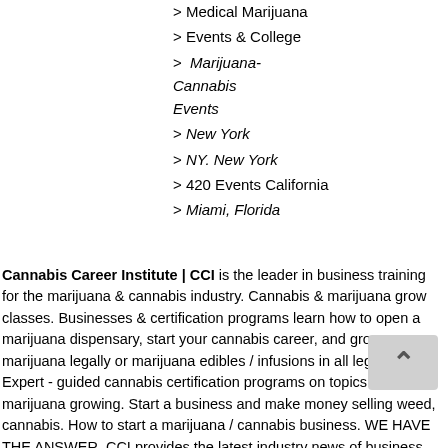> Medical Marijuana
> Events & College
>  Marijuana-Cannabis Events
> New York
> NY. New York
> 420 Events California
> Miami, Florida
Cannabis Career Institute | CCI is the leader in business training for the marijuana & cannabis industry. Cannabis & marijuana grow classes. Businesses & certification programs learn how to open a marijuana dispensary, start your cannabis career, and grow marijuana legally or marijuana edibles / infusions in all legal states. Expert - guided cannabis certification programs on topics like marijuana growing. Start a business and make money selling weed, cannabis. How to start a marijuana / cannabis business. WE HAVE THE ANSWER, CCI provides the latest industry news of business opportunities, marijuana compliance and regulations